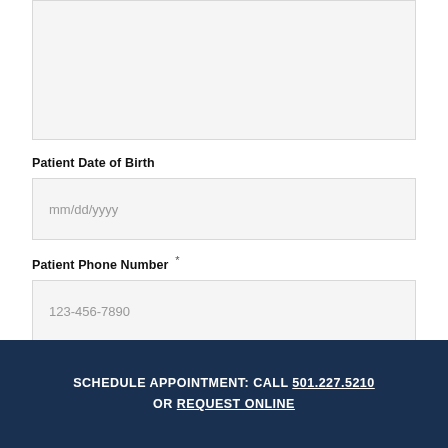[Figure (other): Empty text area input box with light gray background]
Patient Date of Birth
mm/dd/yyyy
Patient Phone Number *
123-456-7890
SCHEDULE APPOINTMENT: CALL 501.227.5210 OR REQUEST ONLINE